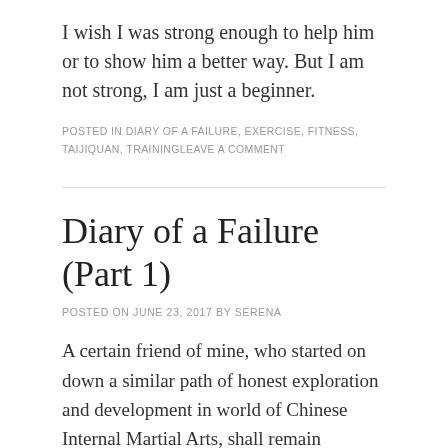I wish I was strong enough to help him or to show him a better way. But I am not strong, I am just a beginner.
POSTED IN DIARY OF A FAILURE, EXERCISE, FITNESS, TAIJIQUAN, TRAININGLEAVE A COMMENT
Diary of a Failure (Part 1)
POSTED ON JUNE 23, 2017 BY SERENA
A certain friend of mine, who started on down a similar path of honest exploration and development in world of Chinese Internal Martial Arts, shall remain nameless.